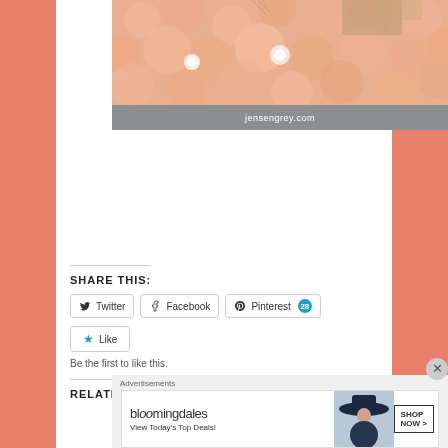[Figure (photo): Fluffy pink/peach fur texture with small decorative items, with a grey banner below showing jensengrey.com]
SHARE THIS:
Twitter  Facebook  Pinterest 28
Like
Be the first to like this.
RELATED
Advertisements
[Figure (photo): Bloomingdales advertisement banner: 'View Today's Top Deals!' with SHOP NOW > button and model with hat]